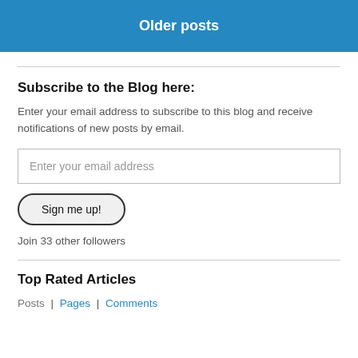Older posts
Subscribe to the Blog here:
Enter your email address to subscribe to this blog and receive notifications of new posts by email.
Enter your email address
Sign me up!
Join 33 other followers
Top Rated Articles
Posts | Pages | Comments